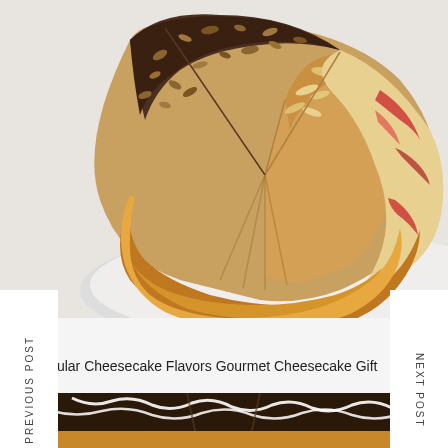[Figure (photo): A cheesecake cut into slices showing multiple flavors including one with chopped nuts and chocolate, one with sliced almonds, and one with berry swirl, displayed on a white plate.]
PREVIOUS POST
NEXT POST
Popular Cheesecake Flavors Gourmet Cheesecake Gift
[Figure (photo): A cheesecake with chocolate ganache topping and white drizzle stripes, partially visible at the bottom of the page.]